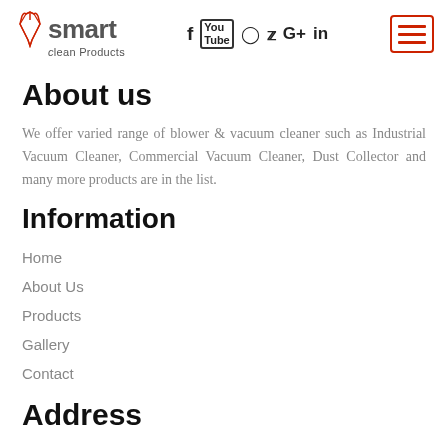Smart Clean Products logo with social media icons (f, YouTube, Instagram, Twitter, G+, in) and hamburger menu button
About us
We offer varied range of blower & vacuum cleaner such as Industrial Vacuum Cleaner, Commercial Vacuum Cleaner, Dust Collector and many more products are in the list.
Information
Home
About Us
Products
Gallery
Contact
Address